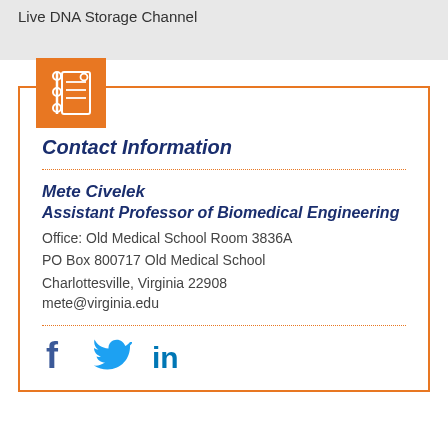Live DNA Storage Channel
[Figure (logo): Orange square icon with a notebook/contact book illustration in white]
Contact Information
Mete Civelek
Assistant Professor of Biomedical Engineering
Office: Old Medical School Room 3836A
PO Box 800717 Old Medical School
Charlottesville, Virginia 22908
mete@virginia.edu
[Figure (illustration): Social media icons: Facebook (f), Twitter (bird), LinkedIn (in) in blue]